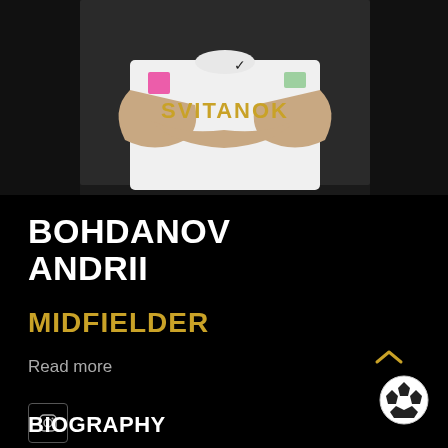[Figure (photo): Football player in white jersey with 'SVITANOK' text in gold, arms crossed, dark background]
BOHDANOV ANDRII
MIDFIELDER
Read more
[Figure (other): Instagram social media icon in square border]
[Figure (other): Soccer ball icon with chevron up arrow]
BIOGRAPHY